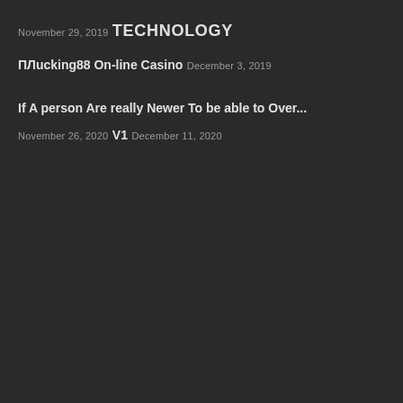November 29, 2019
TECHNOLOGY
ПЛucking88 On-line Casino
December 3, 2019
If A person Are really Newer To be able to Over...
November 26, 2020
V1
December 11, 2020